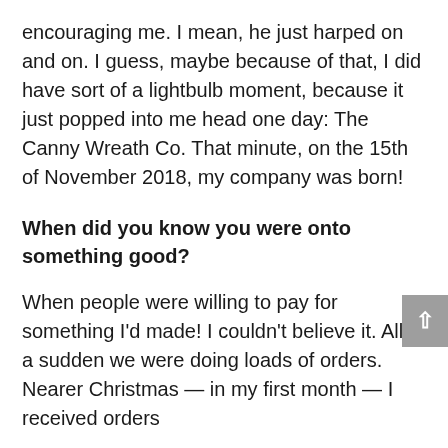encouraging me. I mean, he just harped on and on. I guess, maybe because of that, I did have sort of a lightbulb moment, because it just popped into me head one day: The Canny Wreath Co. That minute, on the 15th of November 2018, my company was born!
When did you know you were onto something good?
When people were willing to pay for something I'd made! I couldn't believe it. All of a sudden we were doing loads of orders. Nearer Christmas — in my first month — I received orders